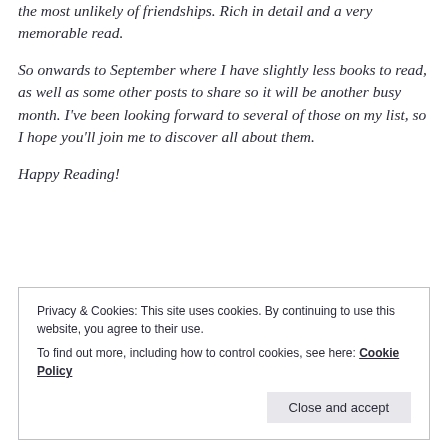the most unlikely of friendships. Rich in detail and a very memorable read.
So onwards to September where I have slightly less books to read, as well as some other posts to share so it will be another busy month. I've been looking forward to several of those on my list, so I hope you'll join me to discover all about them.
Happy Reading!
Privacy & Cookies: This site uses cookies. By continuing to use this website, you agree to their use.
To find out more, including how to control cookies, see here: Cookie Policy
[Close and accept]